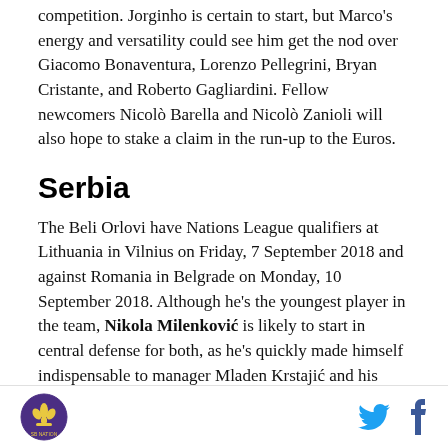competition. Jorginho is certain to start, but Marco's energy and versatility could see him get the nod over Giacomo Bonaventura, Lorenzo Pellegrini, Bryan Cristante, and Roberto Gagliardini. Fellow newcomers Nicolò Barella and Nicolò Zanioli will also hope to stake a claim in the run-up to the Euros.
Serbia
The Beli Orlovi have Nations League qualifiers at Lithuania in Vilnius on Friday, 7 September 2018 and against Romania in Belgrade on Monday, 10 September 2018. Although he's the youngest player in the team, Nikola Milenković is likely to start in central defense for both, as he's quickly made himself indispensable to manager Mladen Krstajić and his form
SB Nation logo | Twitter icon | Facebook icon